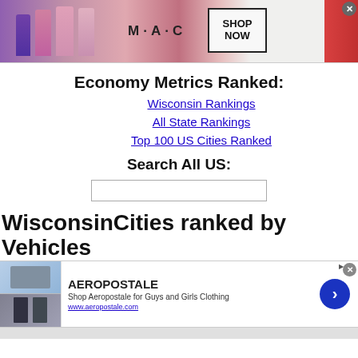[Figure (other): MAC Cosmetics advertisement banner with lipsticks and Shop Now button]
Economy Metrics Ranked:
Wisconsin Rankings
All State Rankings
Top 100 US Cities Ranked
Search All US:
WisconsinCities ranked by Vehicles
[Figure (other): Aeropostale advertisement banner with clothing images, brand name, description and arrow button]